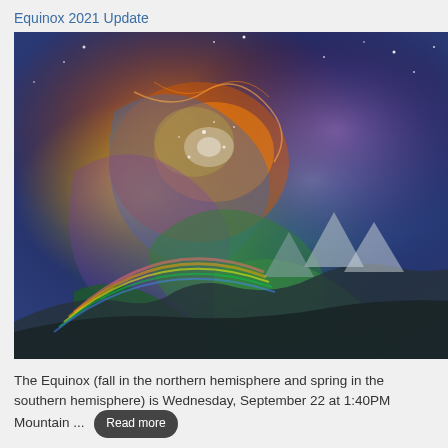Equinox 2021 Update
[Figure (photo): Colorful swirling cosmic/nature fantasy artwork with vibrant oranges, greens, blues and purples depicting galaxies and landscapes merging]
The Equinox (fall in the northern hemisphere and spring in the southern hemisphere) is Wednesday, September 22 at 1:40PM Mountain ... Read more
Virgo 2021 - Humble Servant Earth Spirits
[Figure (photo): Dark blue background with glowing teal/cyan Virgo zodiac figure - a woman with elaborate curly hair, stars around her, and the word 'Virgo' in cursive text at top right]